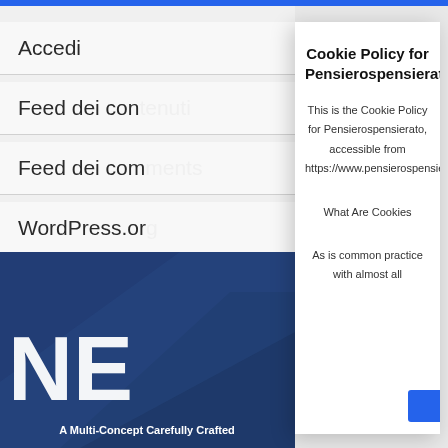Accedi
Feed dei contenuti
Feed dei commenti
WordPress.org
[Figure (screenshot): Dark blue themed website screenshot with 'NE' large text and caption 'A Multi-Concept Carefully Crafted']
Cookie Policy for Pensierospensierato
This is the Cookie Policy for Pensierospensierato, accessible from https://www.pensierospensierato.net/
What Are Cookies
As is common practice with almost all